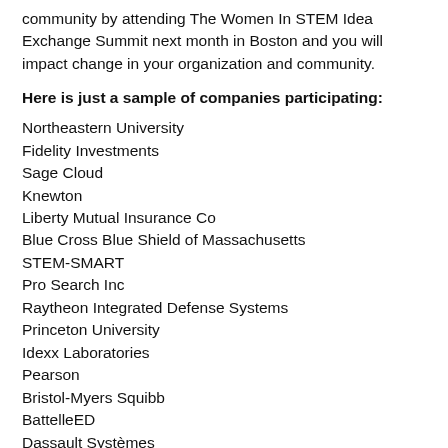What are you waiting for? Make your mark within the STEM community by attending The Women In STEM Idea Exchange Summit next month in Boston and you will impact change in your organization and community.
Here is just a sample of companies participating:
Northeastern University
Fidelity Investments
Sage Cloud
Knewton
Liberty Mutual Insurance Co
Blue Cross Blue Shield of Massachusetts
STEM-SMART
Pro Search Inc
Raytheon Integrated Defense Systems
Princeton University
Idexx Laboratories
Pearson
Bristol-Myers Squibb
BattelleED
Dassault Systèmes
Covidian